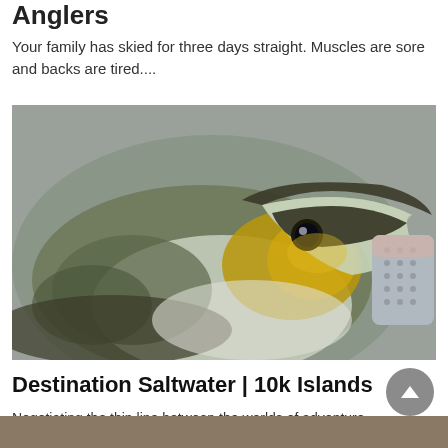Anglers
Your family has skied for three days straight. Muscles are sore and backs are tired....
[Figure (photo): Close-up photo of a fish being held by a person wearing a grey dotted fishing glove. The fish has a large open mouth, golden-olive coloring on its cheeks and body, and is being gripped at the lip. Background is blurred grey.]
Destination Saltwater | 10k Islands
Negotiating the thin line between the worlds of adventure and danger, three anglers embark on...